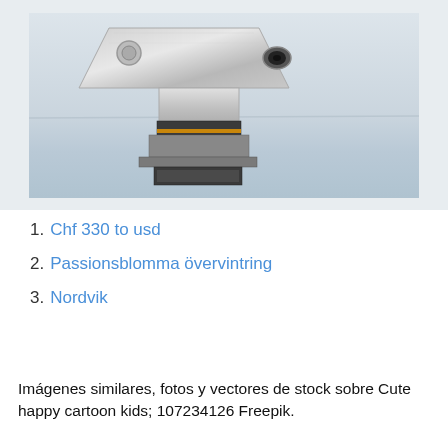[Figure (photo): A coin-operated binocular/telescope viewer mounted on a stand, photographed against a hazy ocean/sea horizon background. The viewer is metallic silver with a dark band near the base.]
Chf 330 to usd
Passionsblomma övervintring
Nordvik
Imágenes similares, fotos y vectores de stock sobre Cute happy cartoon kids; 107234126 Freepik.